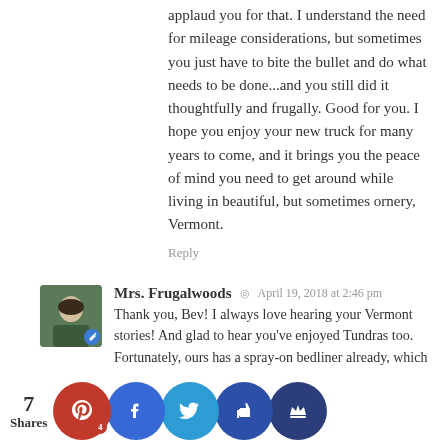applaud you for that. I understand the need for mileage considerations, but sometimes you just have to bite the bullet and do what needs to be done...and you still did it thoughtfully and frugally. Good for you. I hope you enjoy your new truck for many years to come, and it brings you the peace of mind you need to get around while living in beautiful, but sometimes ornery, Vermont.
Reply
Mrs. Frugalwoods  ◎  April 19, 2018 at 2:46 pm
Thank you, Bev! I always love hearing your Vermont stories! And glad to hear you've enjoyed Tundras too. Fortunately, ours has a spray-on bedliner already, which is great!
Reply
Tara  ◎  April 19, 2018 at 9:37 am
While I am sure you got an awesome car, I also suggest to people to not be afraid to not get the big-name brand vehicle. My mom used to work in short-term auto auction financing (d...buying ...rs at d...nly auc...with 90- d...) so sh... often...with de...out ca...